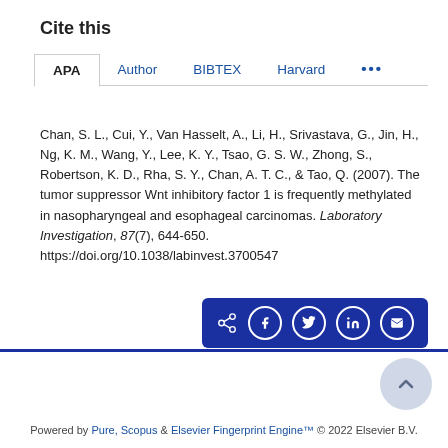Cite this
APA | Author | BIBTEX | Harvard | ...
Chan, S. L., Cui, Y., Van Hasselt, A., Li, H., Srivastava, G., Jin, H., Ng, K. M., Wang, Y., Lee, K. Y., Tsao, G. S. W., Zhong, S., Robertson, K. D., Rha, S. Y., Chan, A. T. C., & Tao, Q. (2007). The tumor suppressor Wnt inhibitory factor 1 is frequently methylated in nasopharyngeal and esophageal carcinomas. Laboratory Investigation, 87(7), 644-650. https://doi.org/10.1038/labinvest.3700547
[Figure (infographic): Share bar with icons for share, Facebook, Twitter, LinkedIn, and email on dark blue background]
Powered by Pure, Scopus & Elsevier Fingerprint Engine™ © 2022 Elsevier B.V.